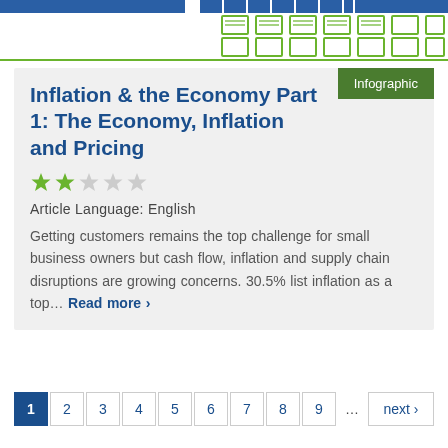[Figure (infographic): Website header with blue bar, green divider line, and decorative green/blue icon grid pattern]
Inflation & the Economy Part 1: The Economy, Inflation and Pricing
Article Language: English
Getting customers remains the top challenge for small business owners but cash flow, inflation and supply chain disruptions are growing concerns. 30.5% list inflation as a top... Read more >
1 2 3 4 5 6 7 8 9 ... next ›